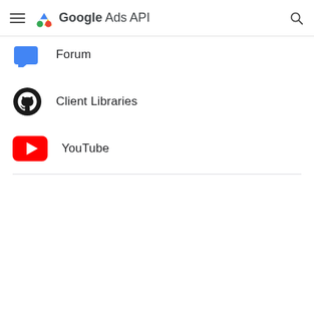Google Ads API
Forum
Client Libraries
YouTube